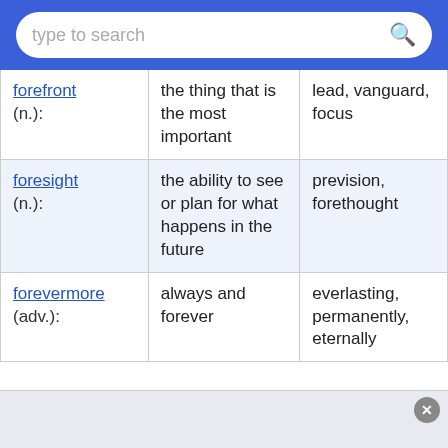type to search
| Word | Definition | Synonyms |
| --- | --- | --- |
| forefront (n.): | the thing that is the most important | lead, vanguard, focus |
| foresight (n.): | the ability to see or plan for what happens in the future | prevision, forethought |
| forevermore (adv.): | always and forever | everlasting, permanently, eternally |